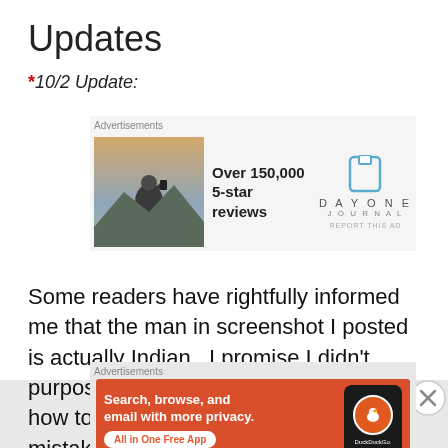Updates
*10/2 Update:
[Figure (other): Advertisement banner for Day One Journal app showing a person taking a photo on a mountain with text 'Over 150,000 5-star reviews' and the Day One logo]
Some readers have rightfully informed me that the man in screenshot I posted is actually Indian.  I promise I didn't purposely provide my own example of how to make assumptions and cultural mistakes,
[Figure (other): Advertisement for DuckDuckGo app with orange background, text 'Search, browse, and email with more privacy. All in One Free App' and a phone showing the DuckDuckGo logo]